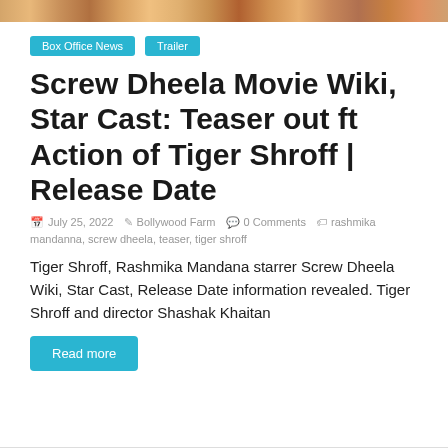[Figure (photo): Colorful movie promotional image at the top of the page]
Box Office News
Trailer
Screw Dheela Movie Wiki, Star Cast: Teaser out ft Action of Tiger Shroff | Release Date
July 25, 2022   Bollywood Farm   0 Comments   rashmika mandanna, screw dheela, teaser, tiger shroff
Tiger Shroff, Rashmika Mandana starrer Screw Dheela Wiki, Star Cast, Release Date information revealed. Tiger Shroff and director Shashak Khaitan
Read more